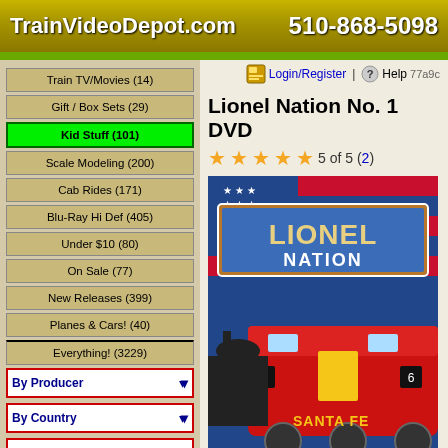TrainVideoDepot.com  510-868-5098
Train TV/Movies (14)
Gift / Box Sets (29)
Kid Stuff (101) [active]
Scale Modeling (200)
Cab Rides (171)
Blu-Ray Hi Def (405)
Under $10 (80)
On Sale (77)
New Releases (399)
Planes & Cars! (40)
Everything! (3229)
By Producer
By Country
By State/Province
By Railroad
Title and Description Search
Lionel Nation No. 1 DVD
5 of 5 (2)
[Figure (photo): DVD cover showing Lionel Nation No. 1 with American flag background and red Santa Fe locomotive]